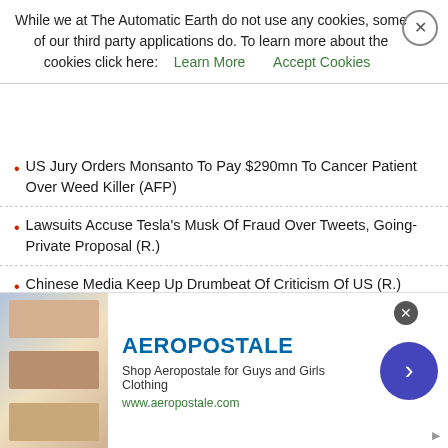While we at The Automatic Earth do not use any cookies, some of our third party applications do. To learn more about the cookies click here: Learn More   Accept Cookies
US Jury Orders Monsanto To Pay $290mn To Cancer Patient Over Weed Killer (AFP)
Lawsuits Accuse Tesla's Musk Of Fraud Over Tweets, Going-Private Proposal (R.)
Chinese Media Keep Up Drumbeat Of Criticism Of US (R.)
China's Japanese Lesson For Fighting Trump's Trade War (F.)
Anything-Goes-and-Nothing-Matters (Jim Kunstler)
ECB Says Waiver For Greek Debt Revoked, Effective Aug. 21 (K.)
UK Home Office Accused Of Betrayal Over Child Refugees (Ind.)
Judge Encouraged By US Plan To Reunite Separated Immigrant Families (R.)
[Figure (infographic): Aeropostale advertisement banner with clothing images, brand name, tagline 'Shop Aeropostale for Guys and Girls Clothing', and URL www.aeropostale.com]